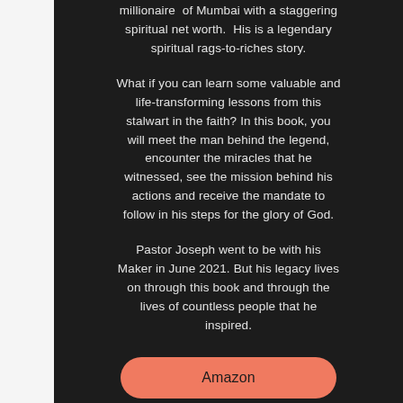millionaire of Mumbai with a staggering spiritual net worth. His is a legendary spiritual rags-to-riches story.
What if you can learn some valuable and life-transforming lessons from this stalwart in the faith? In this book, you will meet the man behind the legend, encounter the miracles that he witnessed, see the mission behind his actions and receive the mandate to follow in his steps for the glory of God.
Pastor Joseph went to be with his Maker in June 2021. But his legacy lives on through this book and through the lives of countless people that he inspired.
Amazon
Flipkart